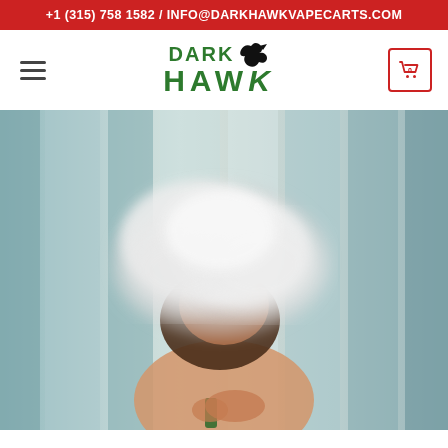+1 (315) 758 1582 / INFO@DARKHAWKVAPECARTS.COM
[Figure (logo): Dark Hawk vape carts logo with green text 'DARK HAWK' and a black hawk bird silhouette]
[Figure (photo): Person vaping with a large cloud of vapor obscuring their face, holding a vape cartridge, blurred curtains in background]